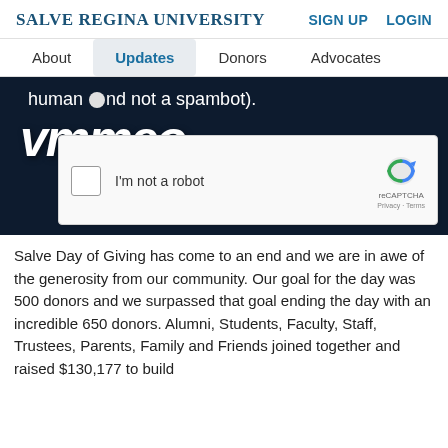SALVE REGINA UNIVERSITY   SIGN UP   LOGIN
About   Updates   Donors   Advocates
[Figure (screenshot): Dark navy background with partial text 'human and not a spambot).' and large italic white 'vimeo' text, overlaid by a reCAPTCHA widget with checkbox labeled 'I'm not a robot' and reCAPTCHA branding with Privacy · Terms links.]
Salve Day of Giving has come to an end and we are in awe of the generosity from our community. Our goal for the day was 500 donors and we surpassed that goal ending the day with an incredible 650 donors. Alumni, Students, Faculty, Staff, Trustees, Parents, Family and Friends joined together and raised $130,177 to build